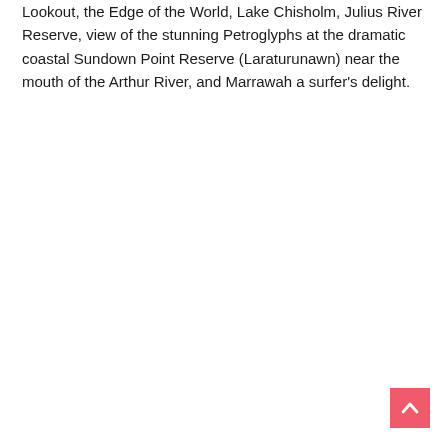Lookout, the Edge of the World, Lake Chisholm, Julius River Reserve, view of the stunning Petroglyphs at the dramatic coastal Sundown Point Reserve (Laraturunawn) near the mouth of the Arthur River, and Marrawah a surfer's delight.
[Figure (other): A coral/salmon-colored square button with a white upward-pointing chevron arrow, used as a 'back to top' navigation button.]